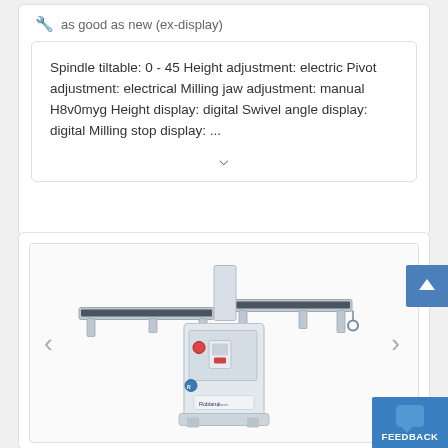🔧 as good as new (ex-display)
Spindle tiltable: 0 - 45 Height adjustment: electric Pivot adjustment: electrical Milling jaw adjustment: manual H8v0myg Height display: digital Swivel angle display: digital Milling stop display: ...
[Figure (photo): Industrial woodworking jointer/planer machine (Robland brand) with long infeed and outfeed tables, white body, mounted on a central base with control panel, photographed against white background.]